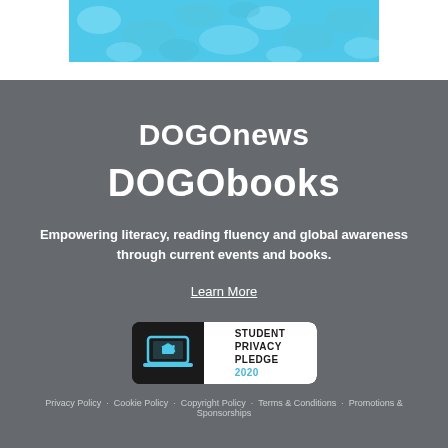[Figure (illustration): Blue patterned banner with abstract shapes on light blue background]
DOGOnews
DOGObooks
Empowering literacy, reading fluency and global awareness through current events and books.
Learn More
[Figure (logo): Student Privacy Pledge 2020 badge with laptop icon]
Privacy Policy   Cookie Policy   Copyright Policy   Terms & Conditions   Promotions & Sponsorships